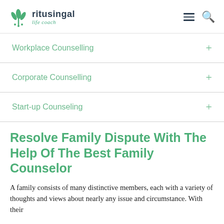ritusingal life coach
Workplace Counselling
Corporate Counselling
Start-up Counseling
Resolve Family Dispute With The Help Of The Best Family Counselor
A family consists of many distinctive members, each with a variety of thoughts and views about nearly any issue and circumstance. With their